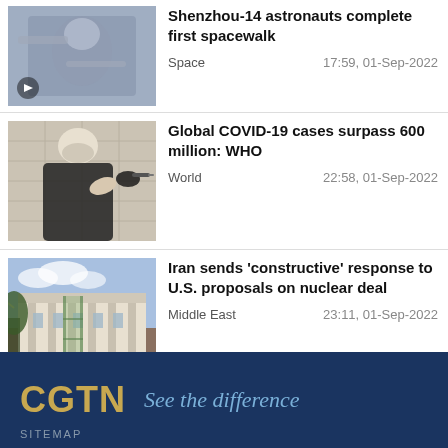[Figure (photo): Astronaut performing spacewalk in space]
Shenzhou-14 astronauts complete first spacewalk
Space    17:59, 01-Sep-2022
[Figure (photo): Person receiving a vaccine injection]
Global COVID-19 cases surpass 600 million: WHO
World    22:58, 01-Sep-2022
[Figure (photo): Historic building exterior with construction scaffolding]
Iran sends 'constructive' response to U.S. proposals on nuclear deal
Middle East    23:11, 01-Sep-2022
[Figure (logo): CGTN logo with tagline 'See the difference' on dark navy background]